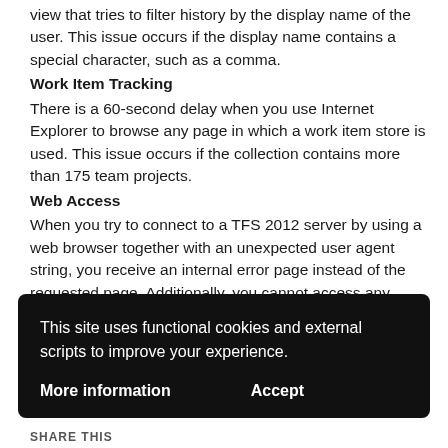view that tries to filter history by the display name of the user. This issue occurs if the display name contains a special character, such as a comma.
Work Item Tracking
There is a 60-second delay when you use Internet Explorer to browse any page in which a work item store is used. This issue occurs if the collection contains more than 175 team projects.
Web Access
When you try to connect to a TFS 2012 server by using a web browser together with an unexpected user agent string, you receive an internal error page instead of the requested page. Additionally, you cannot access any
This site uses functional cookies and external scripts to improve your experience.
More information
Accept
SHARE THIS